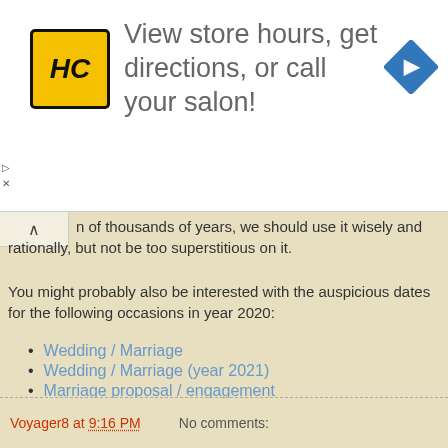[Figure (logo): Advertisement banner: HC salon logo (yellow square with HC text), text 'View store hours, get directions, or call your salon!', blue navigation diamond icon]
n of thousands of years, we should use it wisely and rationally, but not be too superstitious on it.
You might probably also be interested with the auspicious dates for the following occasions in year 2020:
Wedding / Marriage
Wedding / Marriage (year 2021)
Marriage proposal / engagement
Sign contract / register for marriage
Renovation
Moving house / office
Opening business
Voyager8 at 9:16 PM    No comments: